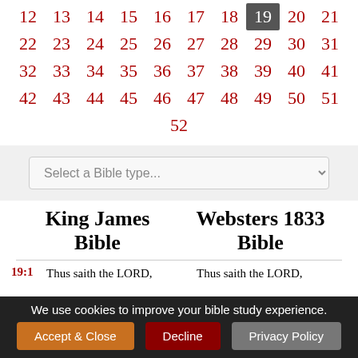12 13 14 15 16 17 18 19 20 21 22 23 24 25 26 27 28 29 30 31 32 33 34 35 36 37 38 39 40 41 42 43 44 45 46 47 48 49 50 51 52
[Figure (screenshot): Dropdown selector labeled 'Select a Bible type...']
King James Bible    Websters 1833 Bible
19:1 Thus saith the LORD,    Thus saith the LORD,
We use cookies to improve your bible study experience.
Accept & Close    Decline    Privacy Policy